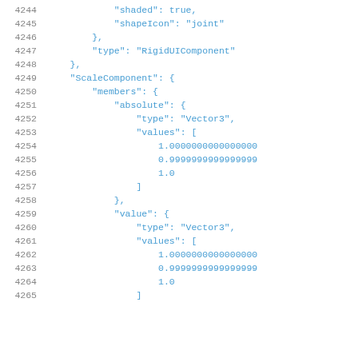Code listing lines 4244-4265 showing JSON structure with shaded, shapeIcon, type RigidUIComponent, ScaleComponent, members, absolute, type Vector3, values array with 1.0000000000000000, 0.9999999999999999, 1.0, value object with type Vector3, values array with 1.0000000000000000, 0.9999999999999999, 1.0